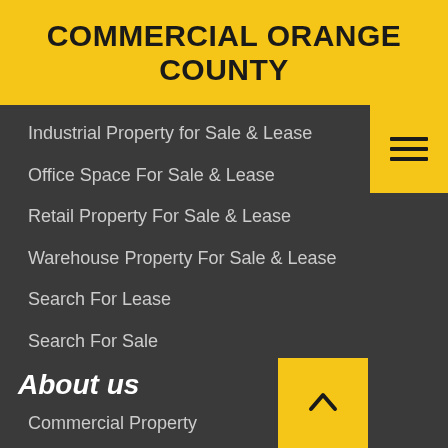COMMERCIAL ORANGE COUNTY
Industrial Property for Sale & Lease
Office Space For Sale & Lease
Retail Property For Sale & Lease
Warehouse Property For Sale & Lease
Search For Lease
Search For Sale
About us
Commercial Property
Retail
Industrial